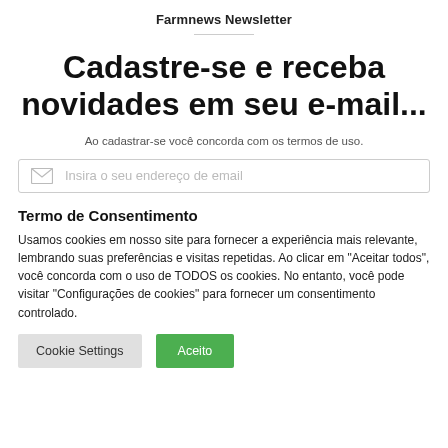Farmnews Newsletter
Cadastre-se e receba novidades em seu e-mail...
Ao cadastrar-se você concorda com os termos de uso.
Insira o seu endereço de email
Termo de Consentimento
Usamos cookies em nosso site para fornecer a experiência mais relevante, lembrando suas preferências e visitas repetidas. Ao clicar em "Aceitar todos", você concorda com o uso de TODOS os cookies. No entanto, você pode visitar "Configurações de cookies" para fornecer um consentimento controlado.
Cookie Settings
Aceito